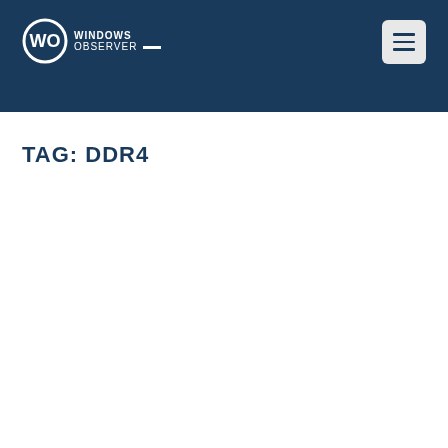WO WINDOWS OBSERVER
TAG: DDR4
Monday - August 29th, 2022
[Figure (screenshot): White card with rounded corners containing a gray placeholder image area]